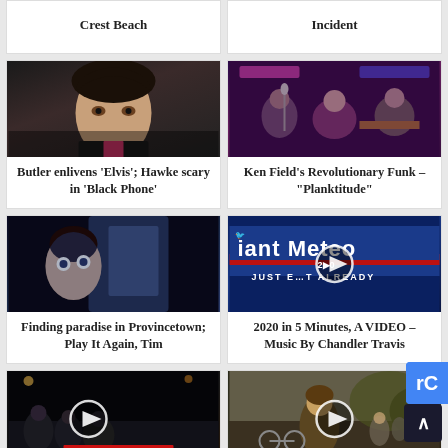Crest Beach
Incident
[Figure (photo): Close-up of a young man with slicked dark hair, dramatic lighting, appears to be a movie still]
Butler enlivens 'Elvis'; Hawke scary in 'Black Phone'
[Figure (photo): Band performing on stage in a bar/venue with purple/neon lighting]
Ken Field's Revolutionary Funk – "Planktitude"
[Figure (photo): Close-up of a person's face in blue/dark tones, appears to be a movie still with car window]
Finding paradise in Provincetown; Play It Again, Tim
[Figure (photo): Video thumbnail: Giant Meteor 2020 sign reading 'JUST END IT ALREADY' with play button overlay]
2020 in 5 Minutes, A VIDEO – Music By Chandler Travis
[Figure (photo): Night scene with protesters and a banner partially reading 'KILLS FASC', with play button overlay]
[Figure (photo): Outdoor scene with a man and people in background, with play button overlay]